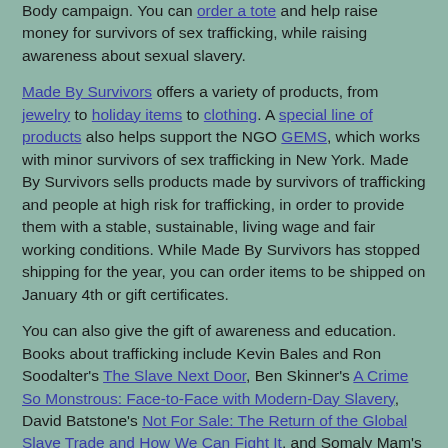Body campaign. You can order a tote and help raise money for survivors of sex trafficking, while raising awareness about sexual slavery.
Made By Survivors offers a variety of products, from jewelry to holiday items to clothing. A special line of products also helps support the NGO GEMS, which works with minor survivors of sex trafficking in New York. Made By Survivors sells products made by survivors of trafficking and people at high risk for trafficking, in order to provide them with a stable, sustainable, living wage and fair working conditions. While Made By Survivors has stopped shipping for the year, you can order items to be shipped on January 4th or gift certificates.
You can also give the gift of awareness and education. Books about trafficking include Kevin Bales and Ron Soodalter's The Slave Next Door, Ben Skinner's A Crime So Monstrous: Face-to-Face with Modern-Day Slavery, David Batstone's Not For Sale: The Return of the Global Slave Trade and How We Can Fight It, and Somaly Mam's autobiographical book The Road of Lost Innocence.